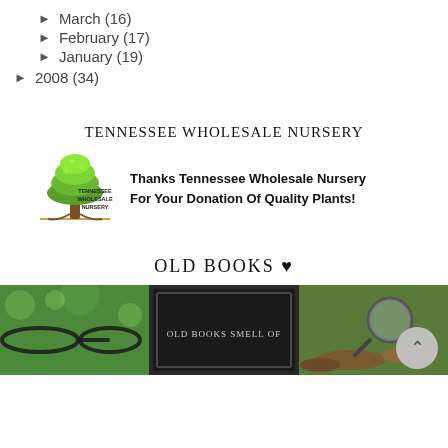March (16)
February (17)
January (19)
2008 (34)
TENNESSEE WHOLESALE NURSERY
[Figure (logo): Tennessee Wholesale Nursery logo with green tree and text, alongside bold text: Thanks Tennessee Wholesale Nursery For Your Donation Of Quality Plants!]
OLD BOOKS ♥
[Figure (photo): A composite image with three panels: glasses on green bokeh background, old books sign text, magnifying glass on logs.]